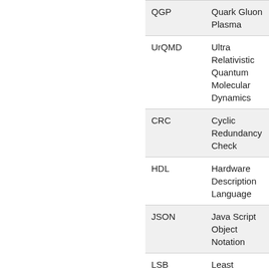| Abbreviation | Definition |
| --- | --- |
| QGP | Quark Gluon Plasma |
| UrQMD | Ultra Relativistic Quantum Molecular Dynamics |
| CRC | Cyclic Redundancy Check |
| HDL | Hardware Description Language |
| JSON | Java Script Object Notation |
| LSB | Least Significant Bit |
| MSB | Most Significant Bit |
| SW | Software |
| VHDL | Very High Speed Integrated Circuit Hardware Description Language |